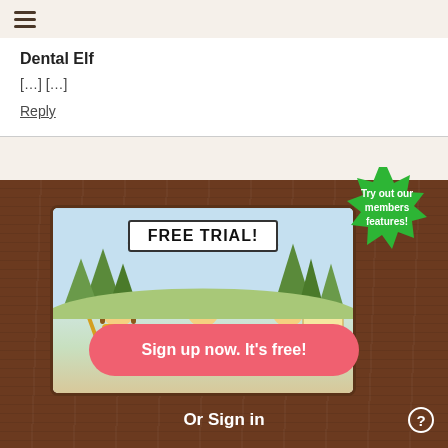≡ (hamburger menu)
Dental Elf
[...] [...]
Reply
[Figure (illustration): Promotional banner for 'FREE TRIAL!' featuring three cartoon elf characters (one in yellow hat, one in green hat, one in blue hat) standing in a forest scene with birds. The right elf holds a 'Join us!' sign. A green starburst badge reads 'Try out our members features!' in the upper right.]
Sign up now. It's free!
Or Sign in